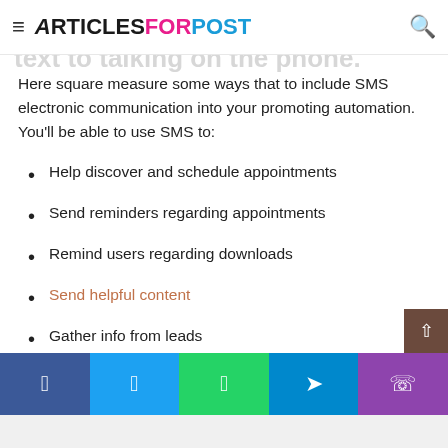ArticlesForPost
millionaires like human action via text to talking on the phone.
Here square measure some ways that to include SMS electronic communication into your promoting automation. You'll be able to use SMS to:
Help discover and schedule appointments
Send reminders regarding appointments
Remind users regarding downloads
Send helpful content
Gather info from leads
Send out survey requests
And these square measure simply the straightforward, simp